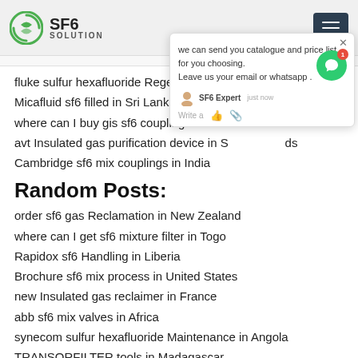SF6 SOLUTION
fluke sulfur hexafluoride Regeneration in Jordan
Micafluid sf6 filled in Sri Lanka
where can I buy gis sf6 couplings in Panama
avt Insulated gas purification device in S... ds
Cambridge sf6 mix couplings in India
Random Posts:
order sf6 gas Reclamation in New Zeala...
where can I get sf6 mixture filter in Togo
Rapidox sf6 Handling in Liberia
Brochure sf6 mix process in United States
new Insulated gas reclaimer in France
abb sf6 mix valves in Africa
synecom sulfur hexafluoride Maintenance in Angola
TRANSORFILTER tools in Madagascar